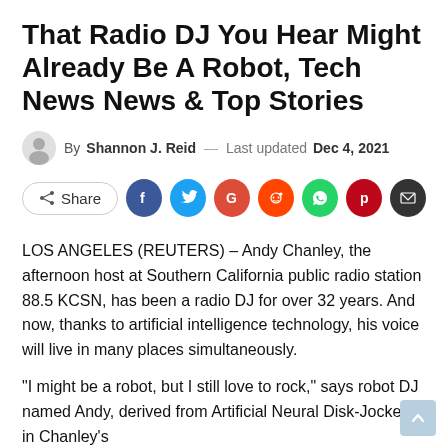That Radio DJ You Hear Might Already Be A Robot, Tech News News & Top Stories
By Shannon J. Reid — Last updated Dec 4, 2021
[Figure (other): Social share bar with Share button, and icons for Facebook, Twitter, Google, Reddit, WhatsApp, Pinterest, and email]
LOS ANGELES (REUTERS) – Andy Chanley, the afternoon host at Southern California public radio station 88.5 KCSN, has been a radio DJ for over 32 years. And now, thanks to artificial intelligence technology, his voice will live in many places simultaneously.
“I might be a robot, but I still love to rock,” says robot DJ named Andy, derived from Artificial Neural Disk-JockeY, in Chanley’s voice, and he goes to the for Reuters, but then also